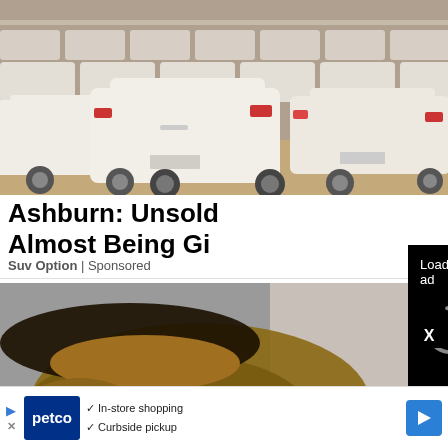[Figure (photo): Rows of white unsold SUVs parked in a large outdoor lot, viewed from behind, dusty conditions]
Ashburn: Unsold SUVs Almost Being Gi...
Suv Option | Sponsored
[Figure (photo): Close-up of a person's face looking shocked, wide eyes]
[Figure (screenshot): Black video player overlay with 'Loading ad' text, spinning loader icon, and media controls (pause, fullscreen, mute)]
[Figure (infographic): Petco advertisement banner: Petco logo, checkmarks for 'In-store shopping' and 'Curbside pickup', blue arrow navigation button]